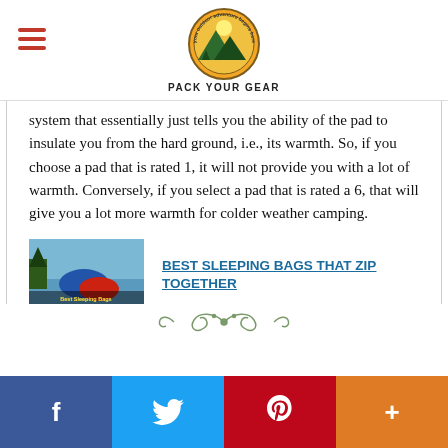PACK YOUR GEAR
system that essentially just tells you the ability of the pad to insulate you from the hard ground, i.e., its warmth. So, if you choose a pad that is rated 1, it will not provide you with a lot of warmth. Conversely, if you select a pad that is rated a 6, that will give you a lot more warmth for colder weather camping.
[Figure (photo): Thumbnail image of sleeping bags that zip together — blue and red sleeping bags by a lake, with text overlay 'Best Sleeping Bags That Zip Together']
BEST SLEEPING BAGS THAT ZIP TOGETHER
Social share bar: Facebook, Twitter, Pinterest, More